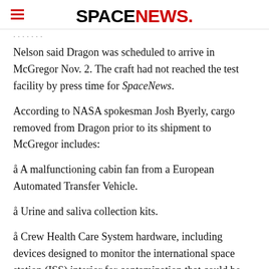SPACENEWS
Nelson said Dragon was scheduled to arrive in McGregor Nov. 2. The craft had not reached the test facility by press time for SpaceNews.
According to NASA spokesman Josh Byerly, cargo removed from Dragon prior to its shipment to McGregor includes:
å A malfunctioning cabin fan from a European Automated Transfer Vehicle.
å Urine and saliva collection kits.
å Crew Health Care System hardware, including devices designed to monitor the international space station (ISS) interior for contamination that could be harmful to the